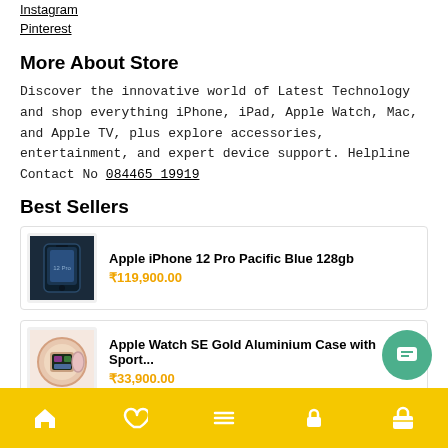Instagram
Pinterest
More About Store
Discover the innovative world of Latest Technology and shop everything iPhone, iPad, Apple Watch, Mac, and Apple TV, plus explore accessories, entertainment, and expert device support. Helpline Contact No 084465 19919
Best Sellers
Apple iPhone 12 Pro Pacific Blue 128gb
₹119,900.00
Apple Watch SE Gold Aluminium Case with Sport...
₹33,900.00
Apple iPhone 12 Pur...
Home | Wishlist | Menu | Cart | Bag